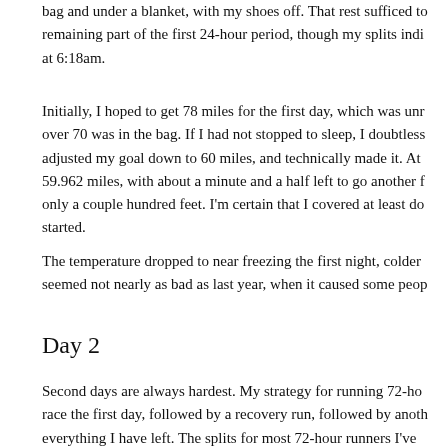bag and under a blanket, with my shoes off. That rest sufficed to remaining part of the first 24-hour period, though my splits indi at 6:18am.
Initially, I hoped to get 78 miles for the first day, which was unr over 70 was in the bag. If I had not stopped to sleep, I doubtless adjusted my goal down to 60 miles, and technically made it. At 59.962 miles, with about a minute and a half left to go another f only a couple hundred feet. I'm certain that I covered at least do started.
The temperature dropped to near freezing the first night, colder seemed not nearly as bad as last year, when it caused some peop
Day 2
Second days are always hardest. My strategy for running 72-ho race the first day, followed by a recovery run, followed by anoth everything I have left. The splits for most 72-hour runners I've